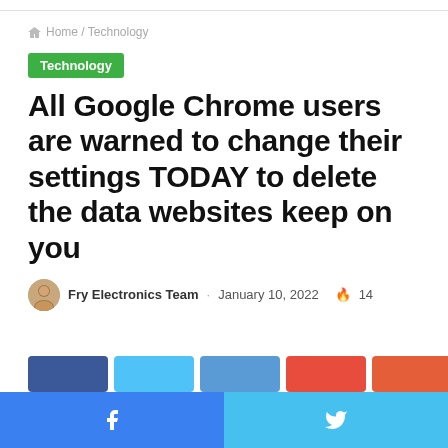Home / Technology
Technology
All Google Chrome users are warned to change their settings TODAY to delete the data websites keep on you
Fry Electronics Team · January 10, 2022 🔥 14
Facebook share · Twitter share